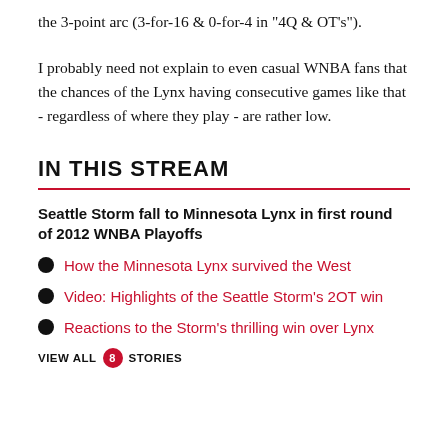the 3-point arc (3-for-16 & 0-for-4 in "4Q & OT's").
I probably need not explain to even casual WNBA fans that the chances of the Lynx having consecutive games like that - regardless of where they play - are rather low.
IN THIS STREAM
Seattle Storm fall to Minnesota Lynx in first round of 2012 WNBA Playoffs
How the Minnesota Lynx survived the West
Video: Highlights of the Seattle Storm's 2OT win
Reactions to the Storm's thrilling win over Lynx
VIEW ALL 8 STORIES